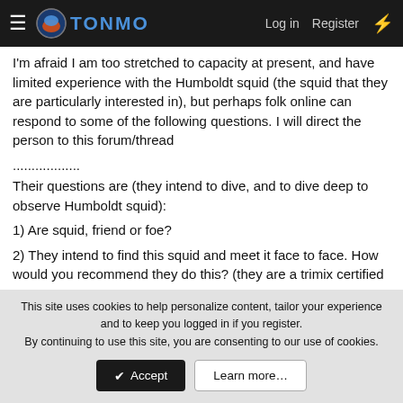TONMO — Log in  Register
I'm afraid I am too stretched to capacity at present, and have limited experience with the Humboldt squid (the squid that they are particularly interested in), but perhaps folk online can respond to some of the following questions. I will direct the person to this forum/thread
..................
Their questions are (they intend to dive, and to dive deep to observe Humboldt squid):
1) Are squid, friend or foe?
2) They intend to find this squid and meet it face to face. How would you recommend they do this? (they are a trimix certified
This site uses cookies to help personalize content, tailor your experience and to keep you logged in if you register.
By continuing to use this site, you are consenting to our use of cookies.